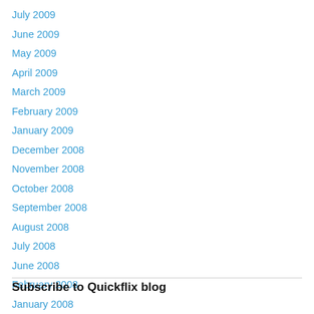July 2009
June 2009
May 2009
April 2009
March 2009
February 2009
January 2009
December 2008
November 2008
October 2008
September 2008
August 2008
July 2008
June 2008
February 2008
January 2008
Subscribe to Quickflix blog